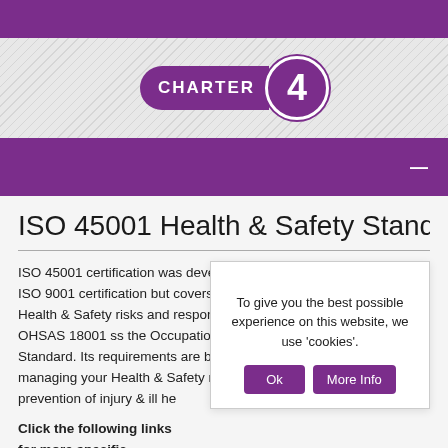[Figure (logo): Charter 4 logo badge with purple pill shape and circle containing the number 4]
ISO 45001 Health & Safety Standa
ISO 45001 certification was developed as a similar approach to the ISO 9001 certification but covers the management of Occupational Health & Safety risks and responsibilities. ISO 45001 replaces OHSAS 18001 ss the Occupational Health & Safety Management Standard. Its requirements are based on Best Practice to assist managing your Health & Safety responsibilities and risks, the prevention of injury & ill he...
Click the following links for more specific information:
To give you the best possible experience on this website, we use 'cookies'.